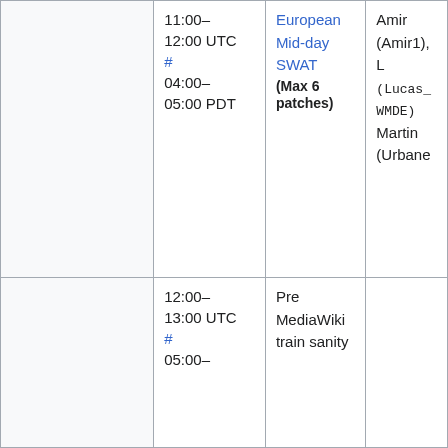|  | Time | Event | Deployers |
| --- | --- | --- | --- |
|  | 11:00–12:00 UTC # 04:00–05:00 PDT | European Mid-day SWAT (Max 6 patches) | Amir (Amir1), L (Lucas_WMDE) Martin (Urbane |
|  | 12:00–13:00 UTC # 05:00– | Pre MediaWiki train sanity check |  |